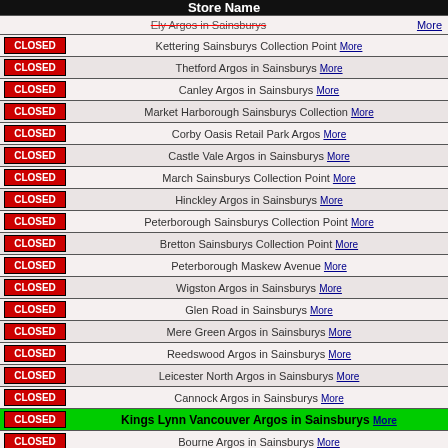| Store Name |
| --- |
| (partial) Ely Argos in Sainsburys More |
| CLOSED | Kettering Sainsburys Collection Point More |
| CLOSED | Thetford Argos in Sainsburys More |
| CLOSED | Canley Argos in Sainsburys More |
| CLOSED | Market Harborough Sainsburys Collection More |
| CLOSED | Corby Oasis Retail Park Argos More |
| CLOSED | Castle Vale Argos in Sainsburys More |
| CLOSED | March Sainsburys Collection Point More |
| CLOSED | Hinckley Argos in Sainsburys More |
| CLOSED | Peterborough Sainsburys Collection Point More |
| CLOSED | Bretton Sainsburys Collection Point More |
| CLOSED | Peterborough Maskew Avenue More |
| CLOSED | Wigston Argos in Sainsburys More |
| CLOSED | Glen Road in Sainsburys More |
| CLOSED | Mere Green Argos in Sainsburys More |
| CLOSED | Reedswood Argos in Sainsburys More |
| CLOSED | Leicester North Argos in Sainsburys More |
| CLOSED | Cannock Argos in Sainsburys More |
| CLOSED | Kings Lynn Vancouver Argos in Sainsburys More |
| CLOSED | Bourne Argos in Sainsburys More |
| CLOSED | Swadlincote in Sainsburys Collect Point More |
| CLOSED | Stafford Argos in Sainsburys More |